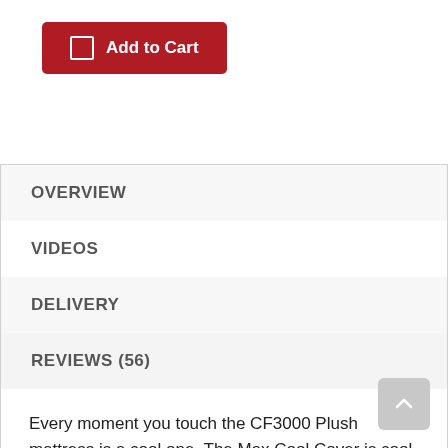[Figure (other): Add to Cart button with red background and shopping cart icon]
OVERVIEW
VIDEOS
DELIVERY
REVIEWS (56)
Every moment you touch the CF3000 Plush mattress is a cool one. The Max Cool Cover is cool-to-the-touch, and the UltraCold System™ paired with Carbon Fiber Memory Foam work hard